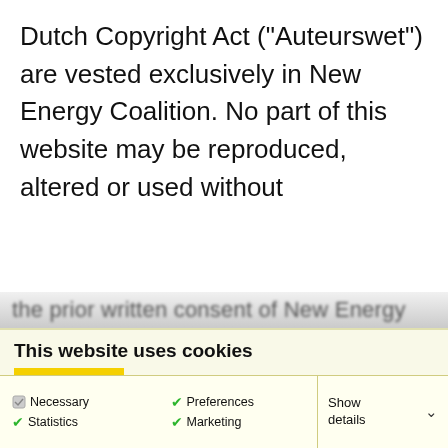Dutch Copyright Act (“Auteurswet”) are vested exclusively in New Energy Coalition. No part of this website may be reproduced, altered or used without
the prior written consent of New Energy
This website uses cookies
We use cookies, so you have the best experience while visiting our website. We only use marketing cookies for placing videos of YouTube and Vimeo on our website. Click on ‘show details’ to learn more about the specific cookies we use.
Allow all
Allow my selection
Only necessary cookies
Necessary
Statistics
Preferences
Marketing
Show details